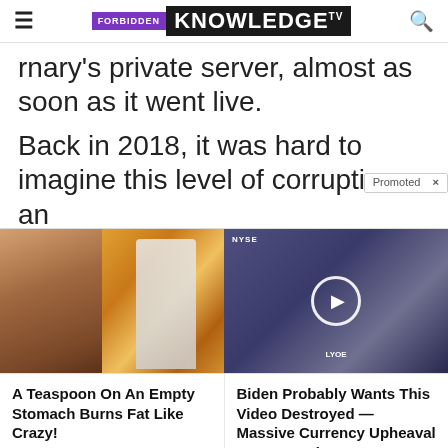FORBIDDEN KNOWLEDGE TV
rnary's private server, almost as soon as it went live.
Back in 2018, it was hard to imagine this level of corruption an...
[Figure (screenshot): Promoted ad widget with two sponsored content cards: left card shows fitness/spice image with title 'A Teaspoon On An Empty Stomach Burns Fat Like Crazy!' and 'Find Out More' button; right card shows financial news video thumbnail with title 'Biden Probably Wants This Video Destroyed — Massive Currency Upheaval Has Started' and 'Watch The Video' button.]